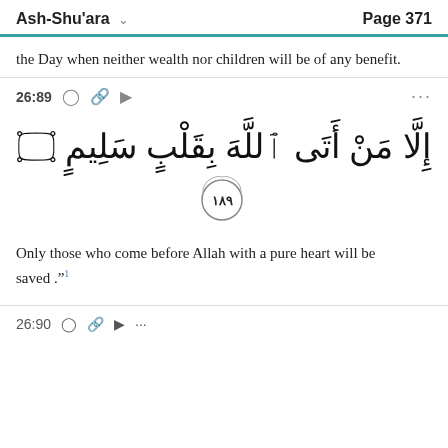Ash-Shu'ara    Page 371
the Day when neither wealth nor children will be of any benefit.
26:89
[Figure (other): Arabic Quran verse 26:89 with verse number 89 in decorative circle: إِلَّا مَنْ أَتَى ٱللَّهَ بِقَلْبٍ سَلِيمٍ ٨٩]
Only those who come before Allah with a pure heart will be saved ."1
26:90